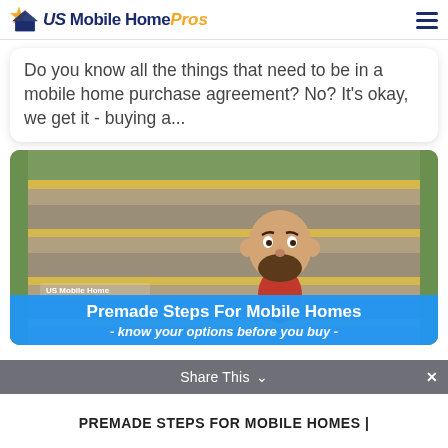US Mobile Home Pros
Do you know all the things that need to be in a mobile home purchase agreement? No? It's okay, we get it - buying a...
[Figure (photo): Outdoor wooden stairs with yellow non-slip treads and a cartoon bobblehead mascot character sitting on a step. Blue banner overlay reads: Premade Steps For Mobile Homes - know your options before you buy -. US Mobile Home logo visible on the image.]
Share This
PREMADE STEPS FOR MOBILE HOMES |